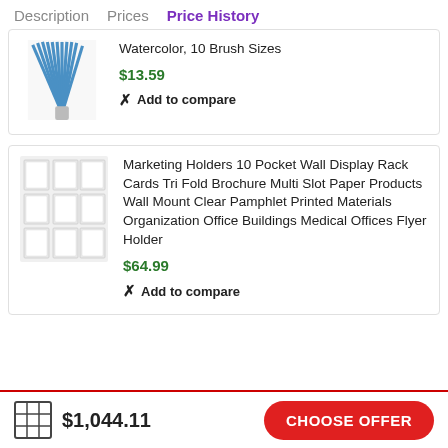Description   Prices   Price History
Watercolor, 10 Brush Sizes
$13.59
Add to compare
Marketing Holders 10 Pocket Wall Display Rack Cards Tri Fold Brochure Multi Slot Paper Products Wall Mount Clear Pamphlet Printed Materials Organization Office Buildings Medical Offices Flyer Holder
$64.99
Add to compare
$1,044.11   CHOOSE OFFER